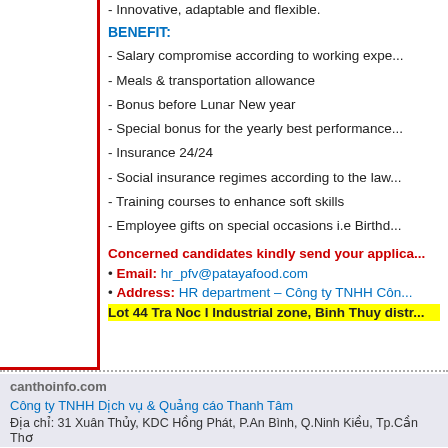- Innovative, adaptable and flexible.
BENEFIT:
- Salary compromise according to working expe...
- Meals & transportation allowance
- Bonus before Lunar New year
- Special bonus for the yearly best performance...
- Insurance 24/24
- Social insurance regimes according to the law...
- Training courses to enhance soft skills
- Employee gifts on special occasions i.e Birthd...
Concerned candidates kindly send your applica...
Email: hr_pfv@patayafood.com
Address: HR department – Công ty TNHH Công...
Lot 44 Tra Noc I Industrial zone, Binh Thuy distr...
canthoinfo.com
Công ty TNHH Dịch vụ & Quảng cáo Thanh Tâm
Địa chỉ: 31 Xuân Thủy, KDC Hồng Phát, P.An Bình, Q.Ninh Kiều, Tp.Cần Thơ